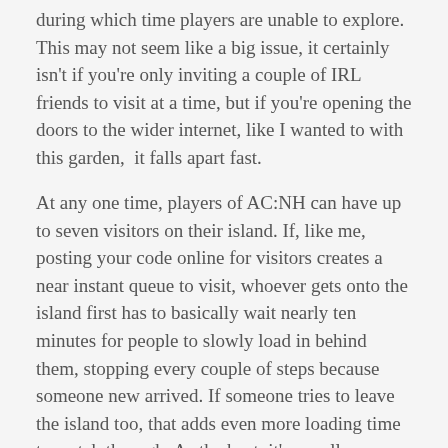during which time players are unable to explore. This may not seem like a big issue, it certainly isn't if you're only inviting a couple of IRL friends to visit at a time, but if you're opening the doors to the wider internet, like I wanted to with this garden,  it falls apart fast.
At any one time, players of AC:NH can have up to seven visitors on their island. If, like me, posting your code online for visitors creates a near instant queue to visit, whoever gets onto the island first has to basically wait nearly ten minutes for people to slowly load in behind them, stopping every couple of steps because someone new arrived. If someone tries to leave the island too, that adds even more loading time to watch through. As the host, it's equally frustrating, because even if you do decide to close the gate early, physically walking back to the NPC that can stem the tide of visitors isn't always possible,